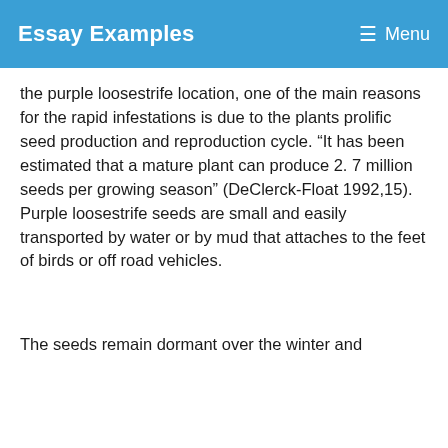Essay Examples   Menu
the purple loosestrife location, one of the main reasons for the rapid infestations is due to the plants prolific seed production and reproduction cycle. “It has been estimated that a mature plant can produce 2. 7 million seeds per growing season” (DeClerck-Float 1992,15). Purple loosestrife seeds are small and easily transported by water or by mud that attaches to the feet of birds or off road vehicles.
The seeds remain dormant over the winter and